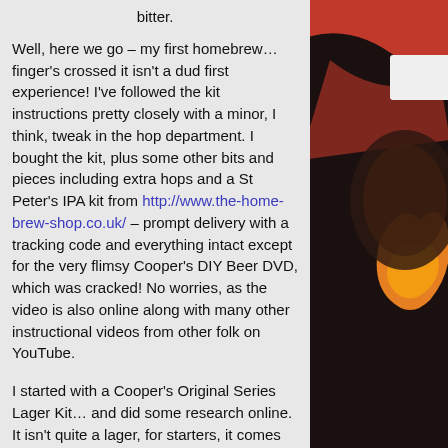bitter.
Well, here we go – my first homebrew… finger's crossed it isn't a dud first experience! I've followed the kit instructions pretty closely with a minor, I think, tweak in the hop department. I bought the kit, plus some other bits and pieces including extra hops and a St Peter's IPA kit from http://www.the-home-brew-shop.co.uk/ – prompt delivery with a tracking code and everything intact except for the very flimsy Cooper's DIY Beer DVD, which was cracked! No worries, as the video is also online along with many other instructional videos from other folk on YouTube.
I started with a Cooper's Original Series Lager Kit… and did some research online. It isn't quite a lager, for starters, it comes with an ale yeast so is really a light ale. Quite a few reports of using this kit with extra hops (in various ways) can be found on the popular homebrew forums too.
In a more general sense, there were various things